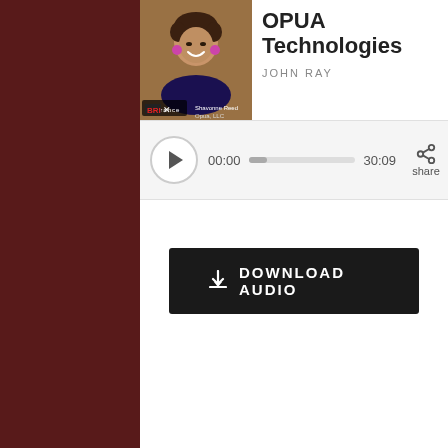[Figure (screenshot): Screenshot of a podcast player page for OPUA Technologies by John Ray, showing a podcast thumbnail image of a woman (Shavonne Reed, Opua LLC), an audio player with play button, time 00:00 / 30:09, and a Download Audio button.]
OPUA Technologies
JOHN RAY
00:00
30:09
share
DOWNLOAD AUDIO